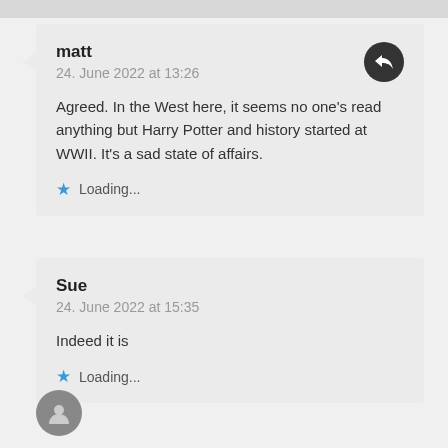matt
24. June 2022 at 13:26
Agreed. In the West here, it seems no one's read anything but Harry Potter and history started at WWII. It's a sad state of affairs.
Loading...
Sue
24. June 2022 at 15:35
Indeed it is
Loading...